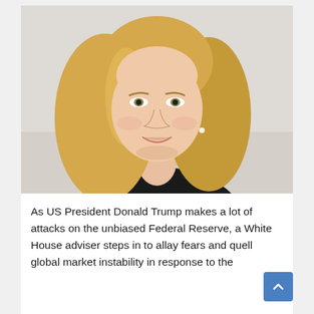[Figure (photo): Headshot portrait of a blonde woman smiling, wearing a black top, against a light gray background.]
As US President Donald Trump makes a lot of attacks on the unbiased Federal Reserve, a White House adviser steps in to allay fears and quell global market instability in response to the attacks. Bloomberg Opinion multi-platf...